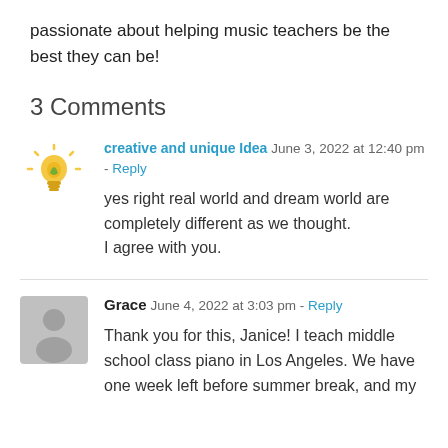passionate about helping music teachers be the best they can be!
3 Comments
creative and unique Idea   June 3, 2022 at 12:40 pm - Reply
yes right real world and dream world are completely different as we thought.
I agree with you.
Grace   June 4, 2022 at 3:03 pm - Reply
Thank you for this, Janice! I teach middle school class piano in Los Angeles. We have one week left before summer break, and my